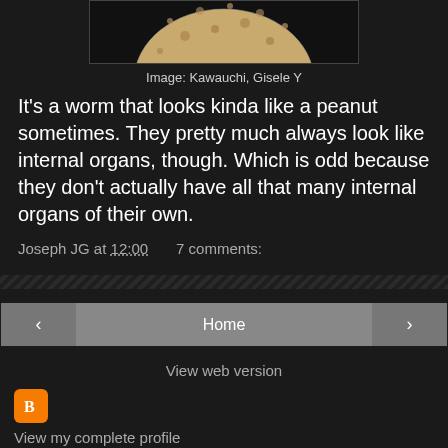[Figure (photo): Partial view of a peanut worm (sipunculan) - a round, textured creature against a black background, cropped at top]
Image: Kawauchi, Gisele Y
It's a worm that looks kinda like a peanut sometimes. They pretty much always look like internal organs, though. Which is odd because they don't actually have all that many internal organs of their own.
Joseph JG at 12:00    7 comments:
< Home >  View web version
[Figure (logo): Blogger orange B logo icon]
View my complete profile
Powered by Blogger.